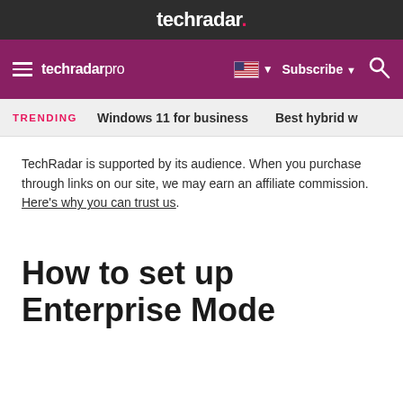techradar.
techradar pro | Subscribe | Search
TRENDING  Windows 11 for business  Best hybrid w
TechRadar is supported by its audience. When you purchase through links on our site, we may earn an affiliate commission. Here's why you can trust us.
How to set up Enterprise Mode